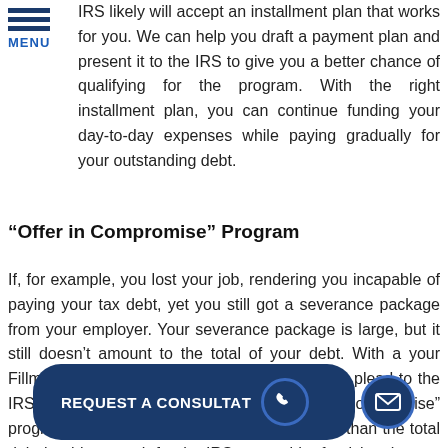MENU
IRS likely will accept an installment plan that works for you. We can help you draft a payment plan and present it to the IRS to give you a better chance of qualifying for the program. With the right installment plan, you can continue funding your day-to-day expenses while paying gradually for your outstanding debt.
“Offer in Compromise” Program
If, for example, you lost your job, rendering you incapable of paying your tax debt, yet you still got a severance package from your employer. Your severance package is large, but it still doesn’t amount to the total of your debt. With a your Fillmore tax debt attorney by your side, we can plead to the IRS that you should be accepted for an “offer in compromise” program, wherein you can pay an amount less than the total debt but big enough for the IRS to consider forgiving the rest of your balance.
[Figure (other): REQUEST A CONSULTATION button with phone icon and mail icon]